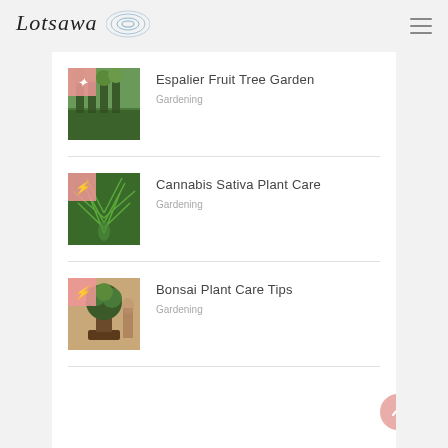Lotsawa
Espalier Fruit Tree Garden — Gardening
Cannabis Sativa Plant Care — Gardening
Bonsai Plant Care Tips — Gardening